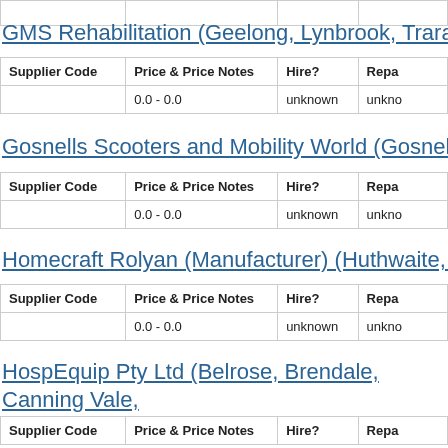GMS Rehabilitation (Geelong, Lynbrook, Traralgon)
| Supplier Code | Price & Price Notes | Hire? | Repa… |
| --- | --- | --- | --- |
|  | 0.0 - 0.0 | unknown | unkno… |
Gosnells Scooters and Mobility World (Gosnells)
| Supplier Code | Price & Price Notes | Hire? | Repa… |
| --- | --- | --- | --- |
|  | 0.0 - 0.0 | unknown | unkno… |
Homecraft Rolyan (Manufacturer) (Huthwaite, Sutto…
| Supplier Code | Price & Price Notes | Hire? | Repa… |
| --- | --- | --- | --- |
|  | 0.0 - 0.0 | unknown | unkno… |
HospEquip Pty Ltd (Belrose, Brendale, Canning Vale, Keysborough)
| Supplier Code | Price & Price Notes | Hire? | Repa… |
| --- | --- | --- | --- |